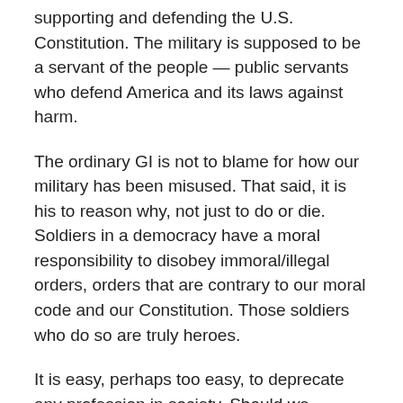supporting and defending the U.S. Constitution. The military is supposed to be a servant of the people — public servants who defend America and its laws against harm.
The ordinary GI is not to blame for how our military has been misused. That said, it is his to reason why, not just to do or die. Soldiers in a democracy have a moral responsibility to disobey immoral/illegal orders, orders that are contrary to our moral code and our Constitution. Those soldiers who do so are truly heroes.
It is easy, perhaps too easy, to deprecate any profession in society. Should we deprecate all priests, and all religion, for the heinous sins of a few priests, and for the often unwise and less-than-moral policies of the Vatican?
Let us not exalt the soldier, but also let us not excoriate